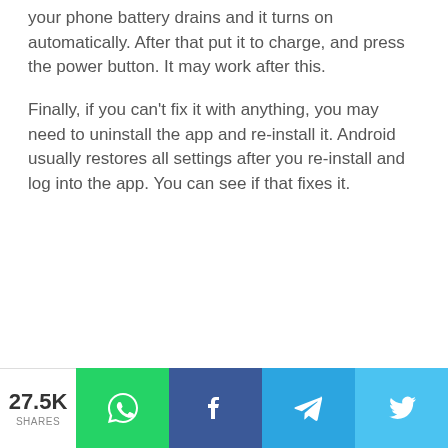your phone battery drains and it turns on automatically. After that put it to charge, and press the power button. It may work after this.
Finally, if you can't fix it with anything, you may need to uninstall the app and re-install it. Android usually restores all settings after you re-install and log into the app. You can see if that fixes it.
27.5K SHARES